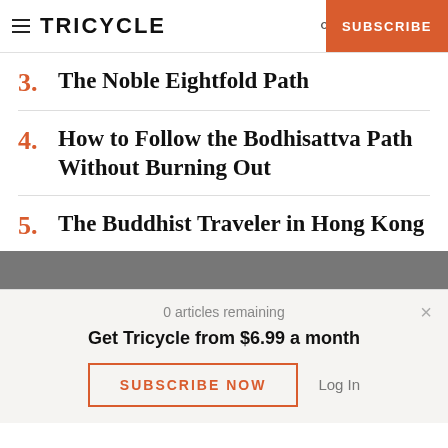TRICYCLE
3. The Noble Eightfold Path
4. How to Follow the Bodhisattva Path Without Burning Out
5. The Buddhist Traveler in Hong Kong
[Figure (photo): Photo strip at bottom of article list]
0 articles remaining
Get Tricycle from $6.99 a month
SUBSCRIBE NOW
Log In